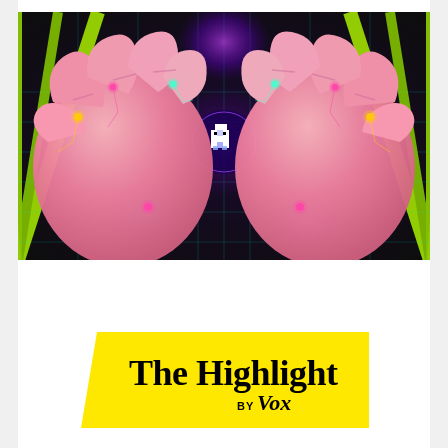[Figure (illustration): Colorful digital illustration showing two large pink cartoon fists facing each other against a dark retro-futuristic grid background with neon green, purple, and pink glowing orbs. Between the fists is a small pixel-art ghost/creature character. The background features yellow-green radiating lines and a cyan grid pattern.]
[Figure (logo): The Highlight by Vox logo on a bright yellow background with a slight parallelogram/trapezoid shape. Text reads 'The Highlight' in large bold serif font, and 'BY Vox' in smaller text with Vox italicized.]